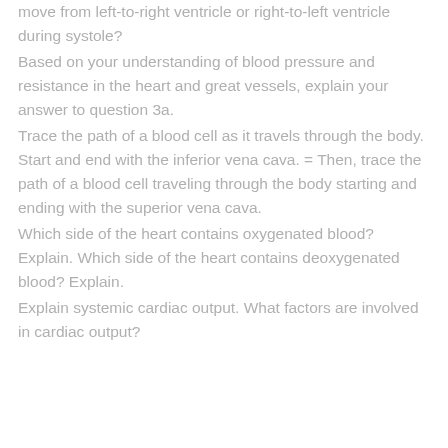move from left-to-right ventricle or right-to-left ventricle during systole?
Based on your understanding of blood pressure and resistance in the heart and great vessels, explain your answer to question 3a.
Trace the path of a blood cell as it travels through the body. Start and end with the inferior vena cava. = Then, trace the path of a blood cell traveling through the body starting and ending with the superior vena cava.
Which side of the heart contains oxygenated blood? Explain. Which side of the heart contains deoxygenated blood? Explain.
Explain systemic cardiac output. What factors are involved in cardiac output?